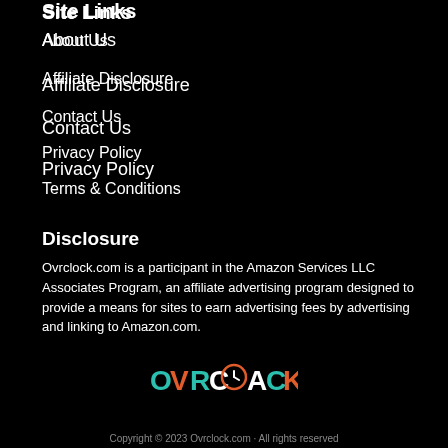Site Links
About Us
Affiliate Disclosure
Contact Us
Privacy Policy
Terms & Conditions
Disclosure
Ovrclock.com is a participant in the Amazon Services LLC Associates Program, an affiliate advertising program designed to provide a means for sites to earn advertising fees by advertising and linking to Amazon.com.
[Figure (logo): OVRCLOCK logo in teal, orange, and white stylized text]
Copyright © 2023 Ovrclock.com · All rights reserved